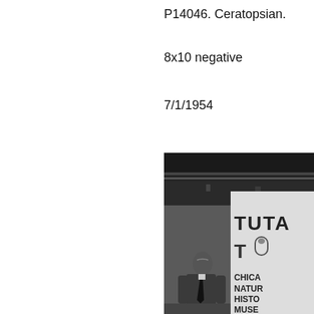P14046. Ceratopsian.
8x10 negative
7/1/1954
[Figure (photo): Black and white photograph showing a man in a suit standing in front of a large sign that reads 'TUTA...' and below it 'CHICAGO NATURAL HISTORY MUSE...' (Chicago Natural History Museum). The setting appears to be an exhibition hall with ceiling lights visible in the background.]